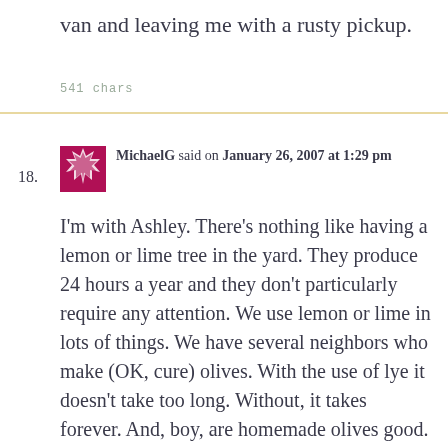van and leaving me with a rusty pickup.
541 chars
18. MichaelG said on January 26, 2007 at 1:29 pm
I'm with Ashley. There's nothing like having a lemon or lime tree in the yard. They produce 24 hours a year and they don't particularly require any attention. We use lemon or lime in lots of things. We have several neighbors who make (OK, cure) olives. With the use of lye it doesn't take too long. Without, it takes forever. And, boy, are homemade olives good. By the way, Ashley, with the